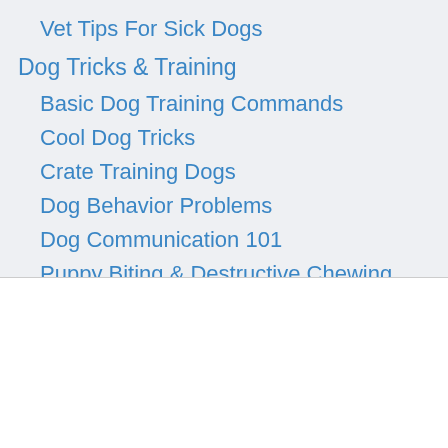Vet Tips For Sick Dogs
Dog Tricks & Training
Basic Dog Training Commands
Cool Dog Tricks
Crate Training Dogs
Dog Behavior Problems
Dog Communication 101
Puppy Biting & Destructive Chewing
Stop Dog Barking